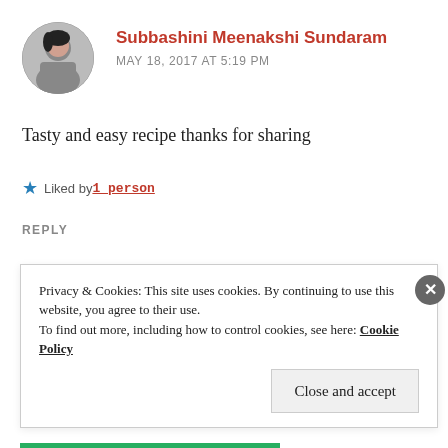[Figure (photo): Circular avatar photo of a woman with dark hair]
Subbashini Meenakshi Sundaram
MAY 18, 2017 AT 5:19 PM
Tasty and easy recipe thanks for sharing
★ Liked by 1person
REPLY
Privacy & Cookies: This site uses cookies. By continuing to use this website, you agree to their use.
To find out more, including how to control cookies, see here: Cookie Policy
Close and accept